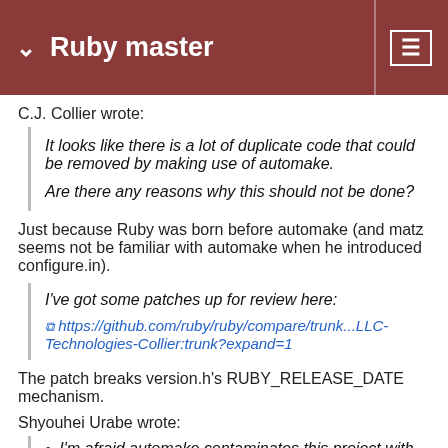Ruby master
C.J. Collier wrote:
It looks like there is a lot of duplicate code that could be removed by making use of automake.

Are there any reasons why this should not be done?
Just because Ruby was born before automake (and matz seems not be familiar with automake when he introduced configure.in).
I've got some patches up for review here:

https://github.com/ruby/ruby/compare/trunk...LLC-Technologies-Collier:trunk?expand=1
The patch breaks version.h's RUBY_RELEASE_DATE mechanism.
Shyouhei Urabe wrote:
I'm afraid automake contaminates this project with GPL.
"Automake places no restrictions on the distribution of the